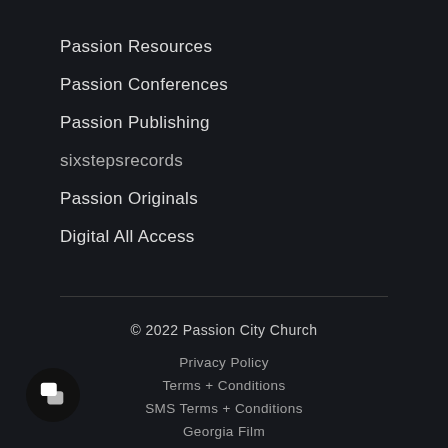Passion Resources
Passion Conferences
Passion Publishing
sixstepsrecords
Passion Originals
Digital All Access
© 2022 Passion City Church
Privacy Policy
Terms + Conditions
SMS Terms + Conditions
Georgia Film